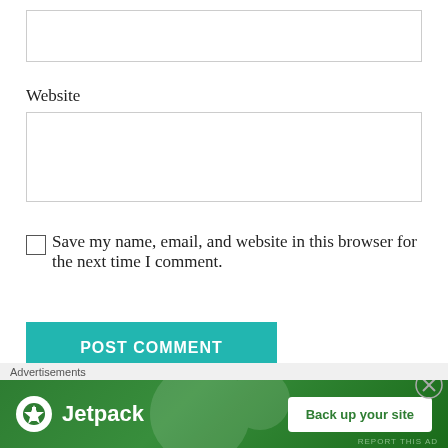[Figure (screenshot): Empty text input box at the top of the page]
Website
[Figure (screenshot): Empty text input box labeled Website]
Save my name, email, and website in this browser for the next time I comment.
[Figure (screenshot): Teal POST COMMENT button]
Notify me of new comments via email.
[Figure (screenshot): Jetpack advertisement banner with 'Back up your site' button and close X button. Shows 'Advertisements' label above the banner.]